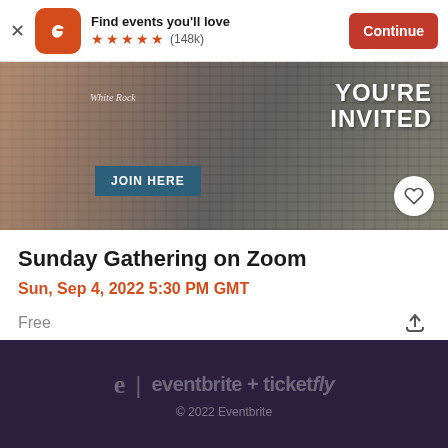[Figure (screenshot): Eventbrite app install banner with orange logo, 5-star rating (148k reviews), and Continue button]
[Figure (photo): Event banner image showing hands on laptop keyboard with text YOU'RE INVITED, JOIN HERE button, and a White Rock label]
Sunday Gathering on Zoom
Sun, Sep 4, 2022 5:30 PM GMT
Free
eventbrite + ticketfly
© 2022 Eventbrite